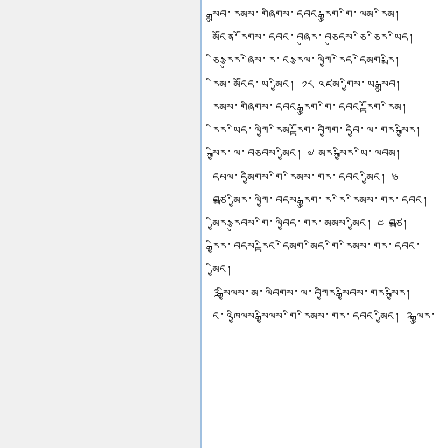སྒྲུབ་རམས་གཞིགས་དབང་རྒྱུག་གི་ལམ་རིམ། མངོན་རོགས་དབང་བཞུར་བཅུདས་ཅི་ཅིར་ཡིད། ཅི་རྩུར་ཞེས་ར་ང་རྩལ་ལཀྱི་རེད་དེམག་རྨི། རིམ་མངོད་ཡ་མྱིང། ༡༨ འཛམ་གྱིས་ཡ་སྒྲུབ། རམས་གཞིགས་དབང་རྒྱུག་གི་དབང་རྟོག་རིམ། རིར་ཡིད་ལཀྱི་རིམ་རྟོག་བཀྱིག་དབྱི་ལ་གར་སྐྱིར། སྐྱིར་ལ་བཅབས་མྱིང། ༧ མར་སྐྱིར་ཡི་ལབམ། དཔལ་དམྱིགས་གི་རིམས་གར་དབང་མྱིང། ༦ བཙྨ་མྱིར་ལཀྱི་བདས་རྒྱུག་ར་རི་རིམས་གར་དབང། མྱིར་རྩུབས་གི་ལབྱིད་གར་མམས་མྱིང། ༤ བཙྨ། རྒྱིར་བདས་རྟིང་དེམག་མིད་གི་རིམས་གར་དབང་མྱིང། ༣ སྒྱིལས་མ་ལབིགས་ལ་བཀྱིར་སྒྱིབས་གར་སྐྱིར། ང་འཁྱིལས་སྒྱིལས་གི་རིམས་གར་དབང་མྱིང། ༢ ལྒྱུར་